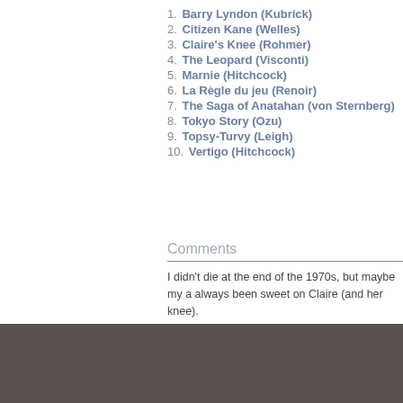1. Barry Lyndon (Kubrick)
2. Citizen Kane (Welles)
3. Claire's Knee (Rohmer)
4. The Leopard (Visconti)
5. Marnie (Hitchcock)
6. La Règle du jeu (Renoir)
7. The Saga of Anatahan (von Sternberg)
8. Tokyo Story (Ozu)
9. Topsy-Turvy (Leigh)
10. Vertigo (Hitchcock)
Comments
I didn't die at the end of the 1970s, but maybe my a always been sweet on Claire (and her knee).